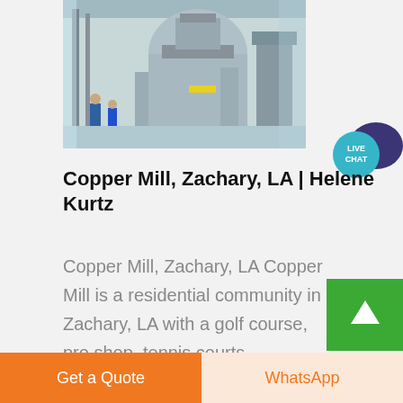[Figure (photo): Industrial machinery/mill equipment in a warehouse or factory setting, with workers visible]
[Figure (other): Live Chat speech bubble icon with dark blue/purple chat balloon and teal circle with LIVE CHAT text]
Copper Mill, Zachary, LA | Helene Kurtz
Copper Mill, Zachary, LA Copper Mill is a residential community in Zachary, LA with a golf course, pro shop, tennis courts, community pool, and beautiful outdoor spaces. The first
[Figure (other): Green scroll-to-top button with upward arrow icon]
Get a Quote | WhatsApp